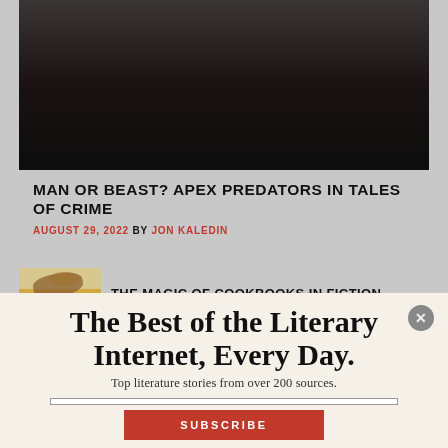LIT
HUB
[Figure (photo): Dark photo of a shadowy figure, partially visible]
MAN OR BEAST? APEX PREDATORS IN TALES OF CRIME
AUGUST 29, 2022 BY JON KALEDIN
[Figure (photo): Small thumbnail image of food/cookbook related photo]
THE MAGIC OF COOKBOOKS IN FICTION
The Best of the Literary Internet, Every Day.
Top literature stories from over 200 sources.
SUBSCRIBE